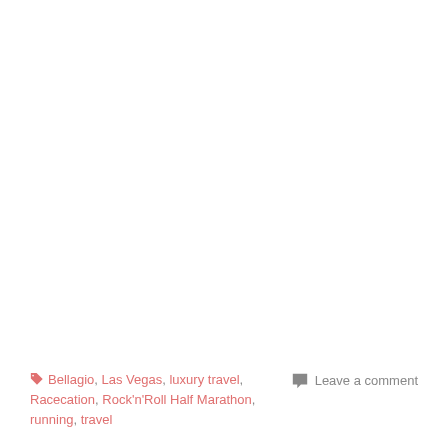🏷 Bellagio, Las Vegas, luxury travel, Racecation, Rock'n'Roll Half Marathon, running, travel   💬 Leave a comment